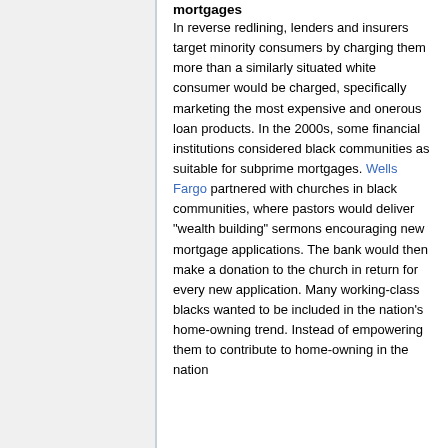mortgages
In reverse redlining, lenders and insurers target minority consumers by charging them more than a similarly situated white consumer would be charged, specifically marketing the most expensive and onerous loan products. In the 2000s, some financial institutions considered black communities as suitable for subprime mortgages. Wells Fargo partnered with churches in black communities, where pastors would deliver "wealth building" sermons encouraging new mortgage applications. The bank would then make a donation to the church in return for every new application. Many working-class blacks wanted to be included in the nation's home-owning trend. Instead of empowering them to contribute to home-owning in the nation...